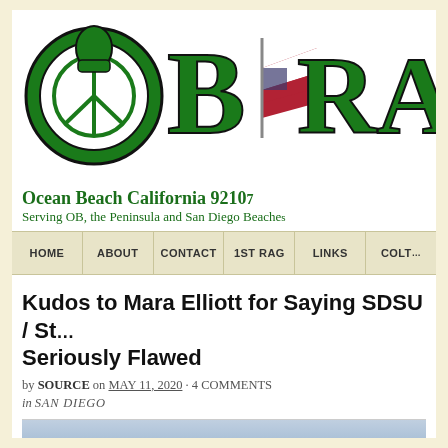[Figure (logo): OB Rag logo with large green stylized letters OB RAG, the O containing a peace sign fist emblem and the letters featuring red/white/blue flag design]
Ocean Beach California 9210…
Serving OB, the Peninsula and San Diego Beache…
HOME | ABOUT | CONTACT | 1ST RAG | LINKS | COLT…
Kudos to Mara Elliott for Saying SDSU / St… Seriously Flawed
by SOURCE on MAY 11, 2020 · 4 COMMENTS
in SAN DIEGO
[Figure (photo): Partial photo at bottom of page showing a landscape or building scene, mostly cut off]